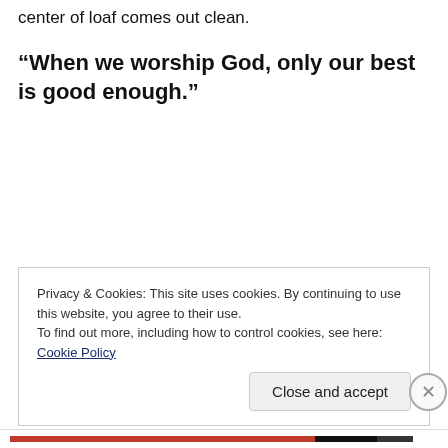center of loaf comes out clean.
“When we worship God, only our best is good enough.”
Privacy & Cookies: This site uses cookies. By continuing to use this website, you agree to their use.
To find out more, including how to control cookies, see here: Cookie Policy
Close and accept